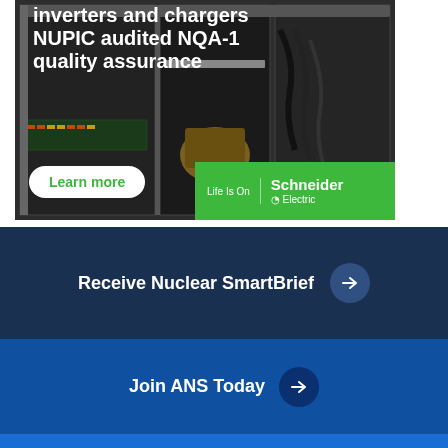[Figure (photo): Advertisement photo showing electrical inverters and chargers equipment in a cabinet, with green overlay containing Schneider Electric logo and Learn more button. Text reads: inverters and chargers NUPIC audited NQA-1 quality assurance]
Receive Nuclear SmartBrief →
Join ANS Today →